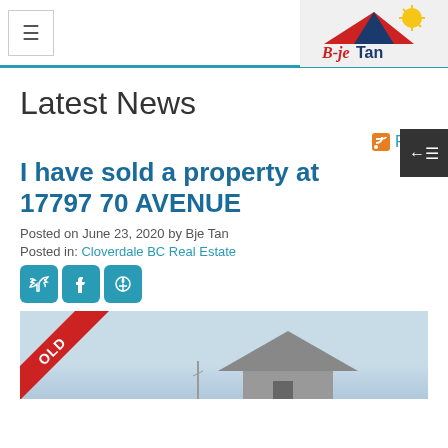B-je Tan REALTOR®
Latest News
RSS
I have sold a property at 17797 70 AVENUE
Posted on June 23, 2020 by Bje Tan
Posted in: Cloverdale BC Real Estate
[Figure (photo): Property photo with SOLD ribbon banner overlay, showing a house exterior against a light blue sky]